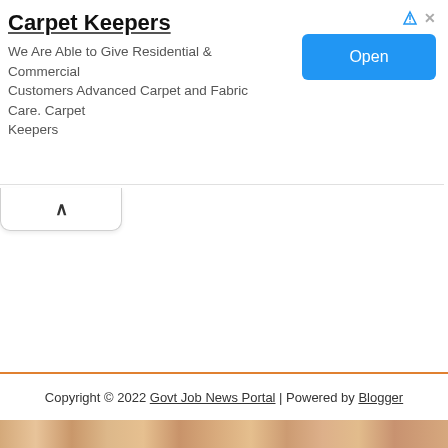[Figure (other): Advertisement banner for Carpet Keepers. Shows company name in bold, description text, an Open button in blue, and ad attribution icons.]
Copyright © 2022 Govt Job News Portal | Powered by Blogger
[Figure (other): Wood texture decorative strip at bottom of page]